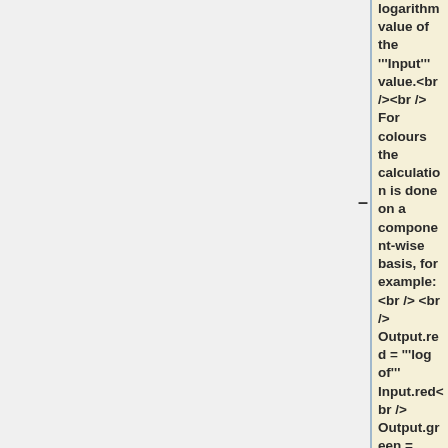logarithm value of the '''Input''' value.<br /><br /> For colours the calculation is done on a component-wise basis, for example: <br /> <br /> Output.red = '''log of''' Input.red<br /> Output.green = '''log of''' Input.green<br /> Output.blue = '''log of''' Input.blue<br /> <br />'''Node Type: ''' Function<br /> <br />'''Settings: